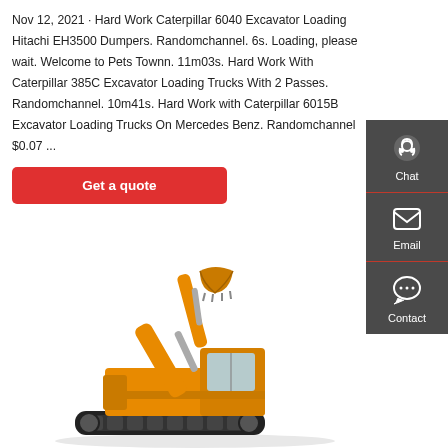Nov 12, 2021 · Hard Work Caterpillar 6040 Excavator Loading Hitachi EH3500 Dumpers. Randomchannel. 6s. Loading, please wait. Welcome to Pets Townn. 11m03s. Hard Work With Caterpillar 385C Excavator Loading Trucks With 2 Passes. Randomchannel. 10m41s. Hard Work with Caterpillar 6015B Excavator Loading Trucks On Mercedes Benz. Randomchannel $0.07 ...
[Figure (other): Get a quote red button]
[Figure (illustration): Orange excavator/construction machine illustration, shown from the side with arm raised]
[Figure (infographic): Dark grey sidebar with Chat (headset icon), Email (envelope icon), Contact (speech bubble icon) options]